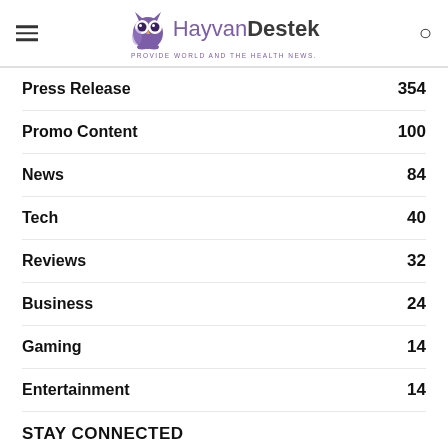HayvanDestek — PROVIDE WORLD AND THE HEALTH NEWS.
Press Release 354
Promo Content 100
News 84
Tech 40
Reviews 32
Business 24
Gaming 14
Entertainment 14
STAY CONNECTED
f 16,985 Fans LIKE